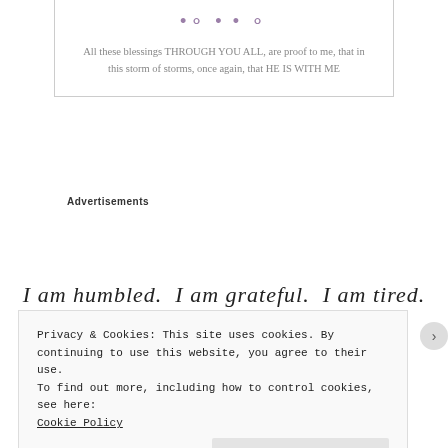[Figure (illustration): Decorative dots in purple/mauve color at top of quote box]
All these blessings THROUGH YOU ALL, are proof to me, that in this storm of storms, once again, that HE IS WITH ME
Advertisements
I am humbled.  I am grateful.  I am tired.
Privacy & Cookies: This site uses cookies. By continuing to use this website, you agree to their use.
To find out more, including how to control cookies, see here:
Cookie Policy
Close and accept